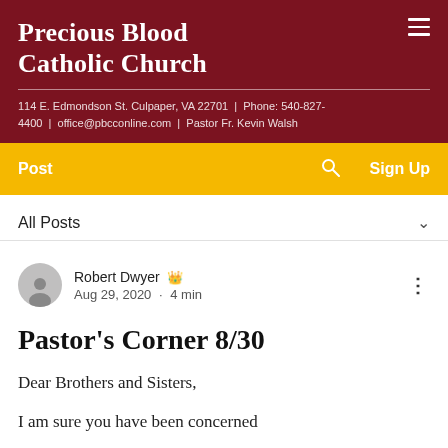Precious Blood Catholic Church
114 E. Edmondson St. Culpaper, VA 22701 | Phone: 540-827-4400 | office@pbcconline.com | Pastor Fr. Kevin Walsh
Post   Sign Up
All Posts
Robert Dwyer 👑
Aug 29, 2020 · 4 min
Pastor's Corner 8/30
Dear Brothers and Sisters,
I am sure you have been concerned